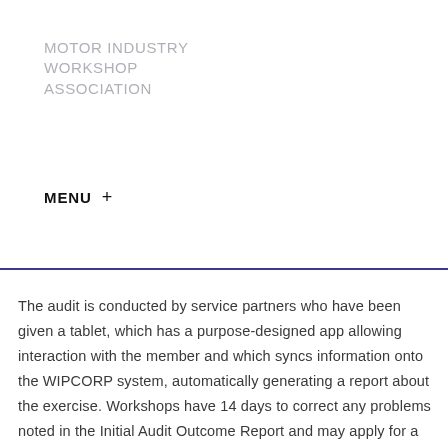MOTOR INDUSTRY WORKSHOP ASSOCIATION
MENU +
The audit is conducted by service partners who have been given a tablet, which has a purpose-designed app allowing interaction with the member and which syncs information onto the WIPCORP system, automatically generating a report about the exercise. Workshops have 14 days to correct any problems noted in the Initial Audit Outcome Report and may apply for a